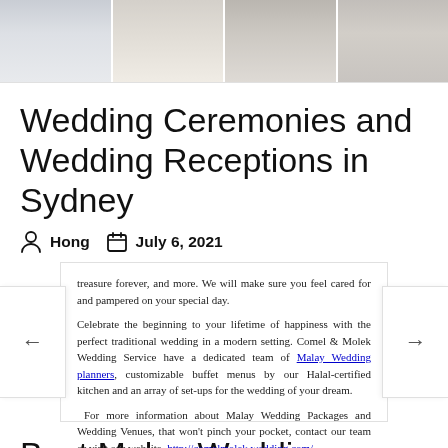[Figure (photo): Banner photo of wedding reception venue with white chiavari chairs and draped tables, split into four segments]
Wedding Ceremonies and Wedding Receptions in Sydney
Hong  July 6, 2021
treasure forever, and more. We will make sure you feel cared for and pampered on your special day.

Celebrate the beginning to your lifetime of happiness with the perfect traditional wedding in a modern setting. Comel & Molek Wedding Service have a dedicated team of Malay Wedding planners, customizable buffet menus by our Halal-certified kitchen and an array of set-ups for the wedding of your dream.

For more information about Malay Wedding Packages and Wedding Venues, that won't pinch your pocket, contact our team or visit our website. http://comelmolek wedding.com/
Best Malay Wedding Venues and